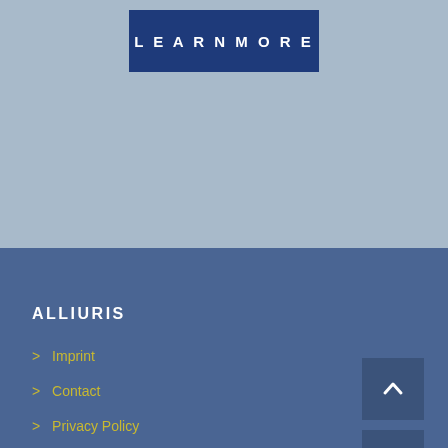[Figure (other): Light blue-gray background section with a dark blue 'Learn more' button centered near the top]
Learn more
ALLIURIS
> Imprint
> Contact
> Privacy Policy